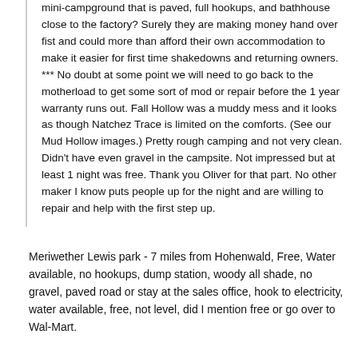Wouldn't it be great if we could talk Oliver to set up their own mini-campground that is paved, full hookups, and bathhouse close to the factory? Surely they are making money hand over fist and could more than afford their own accommodation to make it easier for first time shakedowns and returning owners. *** No doubt at some point we will need to go back to the motherload to get some sort of mod or repair before the 1 year warranty runs out. Fall Hollow was a muddy mess and it looks as though Natchez Trace is limited on the comforts. (See our Mud Hollow images.) Pretty rough camping and not very clean. Didn't have even gravel in the campsite. Not impressed but at least 1 night was free. Thank you Oliver for that part. No other maker I know puts people up for the night and are willing to repair and help with the first step up.
Meriwether Lewis park - 7 miles from Hohenwald, Free, Water available, no hookups, dump station, woody all shade, no gravel, paved road or stay at the sales office, hook to electricity, water available, free, not level, did I mention free or go over to Wal-Mart.